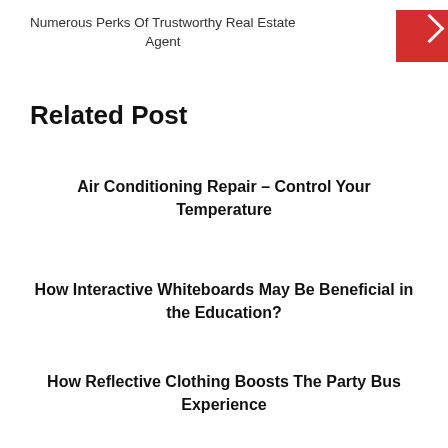Numerous Perks Of Trustworthy Real Estate Agent
Related Post
Air Conditioning Repair – Control Your Temperature
How Interactive Whiteboards May Be Beneficial in the Education?
How Reflective Clothing Boosts The Party Bus Experience